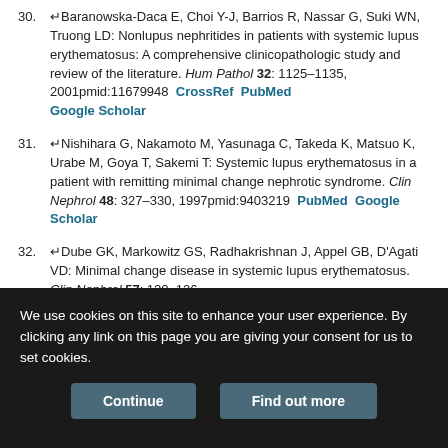30. Baranowska-Daca E, Choi Y-J, Barrios R, Nassar G, Suki WN, Truong LD: Nonlupus nephritides in patients with systemic lupus erythematosus: A comprehensive clinicopathologic study and review of the literature. Hum Pathol 32: 1125–1135, 2001pmid:11679948 CrossRef PubMed Google Scholar
31. Nishihara G, Nakamoto M, Yasunaga C, Takeda K, Matsuo K, Urabe M, Goya T, Sakemi T: Systemic lupus erythematosus in a patient with remitting minimal change nephrotic syndrome. Clin Nephrol 48: 327–330, 1997pmid:9403219 PubMed Google Scholar
32. Dube GK, Markowitz GS, Radhakrishnan J, Appel GB, D'Agati VD: Minimal change disease in systemic lupus erythematosus. Clin Nephrol 57: 120–126, 2002pmid:11863121 CrossRef PubMed Google Scholar
33. Avila-Casado MC, Perez-Torres I, Auron A, Soto V, Fortoul TI, Herrera-Acosta J: Proteinuria in rats induced by serum from patients with...
We use cookies on this site to enhance your user experience. By clicking any link on this page you are giving your consent for us to set cookies.